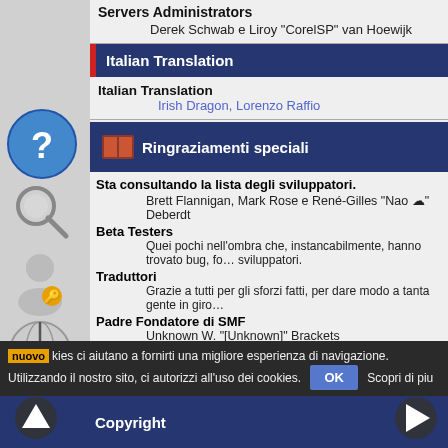Servers Administrators
Derek Schwab e Liroy "CorelSP" van Hoewijk
Italian Translation
Italian Translation
Irish Dragon, Lorenzo Raffio
Ringraziamenti speciali
Sta consultando la lista degli sviluppatori.
Brett Flannigan, Mark Rose e René-Gilles "Nao ☁" Deberdt
Beta Testers
Quei pochi nell'ombra che, instancabilmente, hanno trovato bug, fo… sviluppatori.
Traduttori
Grazie a tutti per gli sforzi fatti, per dare modo a tanta gente in giro…
Padre Fondatore di SMF
Unknown W. "[Unknown]" Brackets
Responsabili iniziali del progetto
Jeff Lewis, Joseph Fung e David Recordon
E per tutti quelli che abbiamo dimenticato di includere, grazie!
cookies ci aiutano a fornirti una migliore esperienza di navigazione. Utilizzando il nostro sito, ci autorizzi all'uso dei cookies. OK Scopri di piu
Copyright